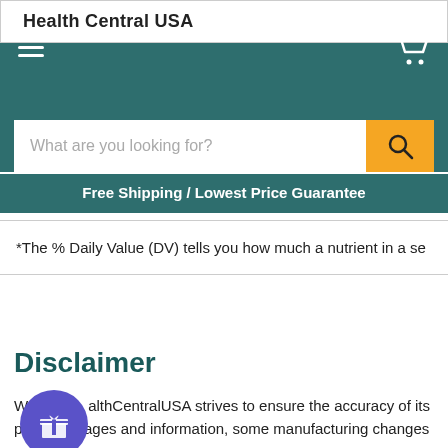Health Central USA
What are you looking for?
Free Shipping / Lowest Price Guarantee
*The % Daily Value (DV) tells you how much a nutrient in a se
Disclaimer
HealthCentralUSA strives to ensure the accuracy of its product images and information, some manufacturing changes